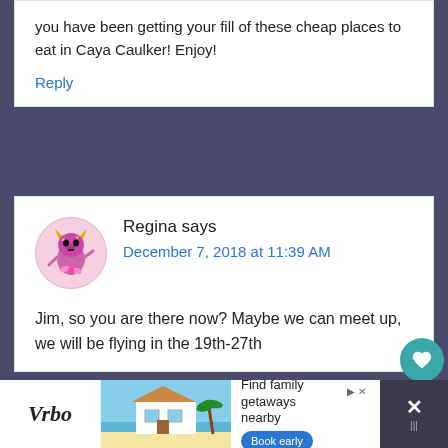you have been getting your fill of these cheap places to eat in Caya Caulker! Enjoy!
Reply
Regina says December 7, 2018 at 11:39 AM
[Figure (illustration): Circular avatar with pink background showing a cartoon monster/devil character in pink/purple with horns and ribbons]
Jim, so you are there now? Maybe we can meet up, we will be flying in the 19th-27th
[Figure (infographic): Advertisement bar for Vrbo showing logo, beach house image, text 'Find family getaways nearby' with Book early button]